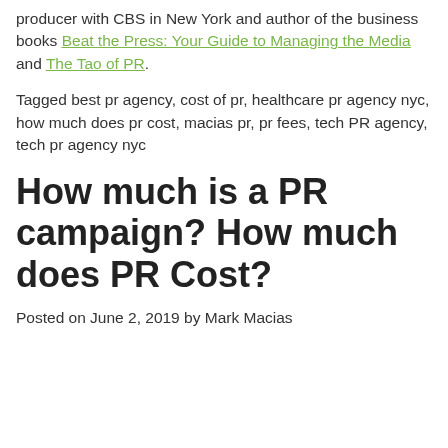producer with CBS in New York and author of the business books Beat the Press: Your Guide to Managing the Media and The Tao of PR.
Tagged best pr agency, cost of pr, healthcare pr agency nyc, how much does pr cost, macias pr, pr fees, tech PR agency, tech pr agency nyc
How much is a PR campaign? How much does PR Cost?
Posted on June 2, 2019 by Mark Macias